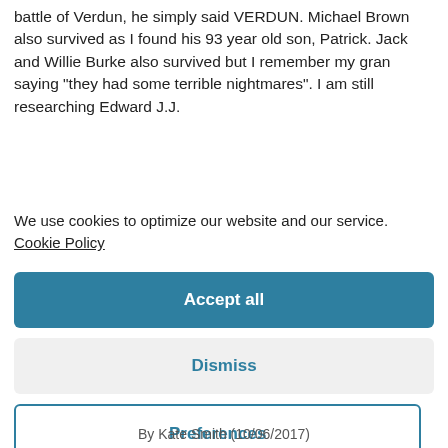battle of Verdun, he simply said VERDUN. Michael Brown also survived as I found his 93 year old son, Patrick. Jack and Willie Burke also survived but I remember my gran saying "they had some terrible nightmares". I am still researching Edward J.J. ...
We use cookies to optimize our website and our service.  Cookie Policy
Accept all
Dismiss
Preferences
By Kate Smith (10/06/2017)